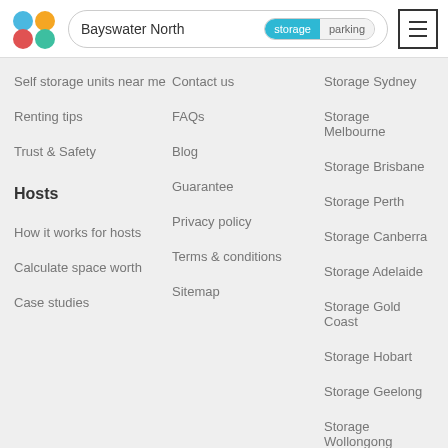[Figure (logo): Four colored circles logo: blue top-left, orange top-right, red bottom-left, teal bottom-right]
Bayswater North
storage | parking
Self storage units near me
Renting tips
Trust & Safety
Hosts
How it works for hosts
Calculate space worth
Case studies
Contact us
FAQs
Blog
Guarantee
Privacy policy
Terms & conditions
Sitemap
Storage Sydney
Storage Melbourne
Storage Brisbane
Storage Perth
Storage Canberra
Storage Adelaide
Storage Gold Coast
Storage Hobart
Storage Geelong
Storage Wollongong
Storage Townsville